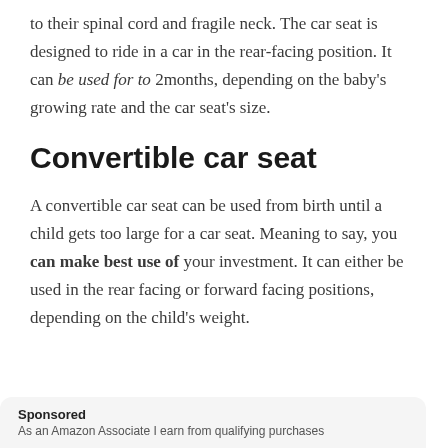to their spinal cord and fragile neck. The car seat is designed to ride in a car in the rear-facing position. It can be used for to 2months, depending on the baby's growing rate and the car seat's size.
Convertible car seat
A convertible car seat can be used from birth until a child gets too large for a car seat. Meaning to say, you can make best use of your investment. It can either be used in the rear facing or forward facing positions, depending on the child's weight.
Sponsored
As an Amazon Associate I earn from qualifying purchases